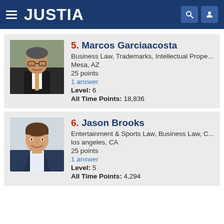JUSTIA
5. Marcos Garciaacosta
Business Law, Trademarks, Intellectual Prope...
Mesa, AZ
25 points
1 answer
Level: 6
All Time Points: 18,836
6. Jason Brooks
Entertainment & Sports Law, Business Law, C...
los angeles, CA
25 points
1 answer
Level: 5
All Time Points: 4,294